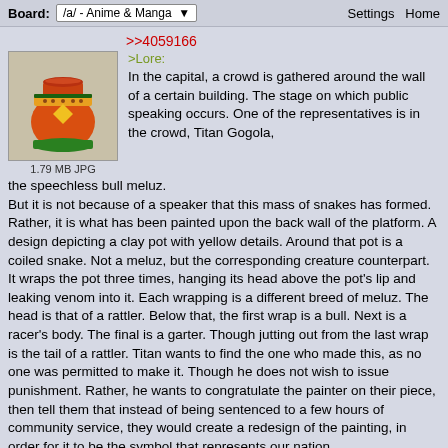Board: /a/ - Anime & Manga  Settings  Home
>>4059166
[Figure (illustration): A clay pot with red, orange, green and yellow colors. The pot has a yellow diamond/triangle design on its body with decorative banding. Below it reads: 1.79 MB JPG]
>Lore:
In the capital, a crowd is gathered around the wall of a certain building. The stage on which public speaking occurs. One of the representatives is in the crowd, Titan Gogola, the speechless bull meluz.
But it is not because of a speaker that this mass of snakes has formed. Rather, it is what has been painted upon the back wall of the platform. A design depicting a clay pot with yellow details. Around that pot is a coiled snake. Not a meluz, but the corresponding creature counterpart. It wraps the pot three times, hanging its head above the pot's lip and leaking venom into it. Each wrapping is a different breed of meluz. The head is that of a rattler. Below that, the first wrap is a bull. Next is a racer's body. The final is a garter. Though jutting out from the last wrap is the tail of a rattler. Titan wants to find the one who made this, as no one was permitted to make it. Though he does not wish to issue punishment. Rather, he wants to congratulate the painter on their piece, then tell them that instead of being sentenced to a few hours of community service, they would create a redesign of the painting, in order for it to be the symbol that represents our nation.
Meluzina (ID: jEWDbyGZ)  01/31/20(Fri)10:18:41 No.4059189